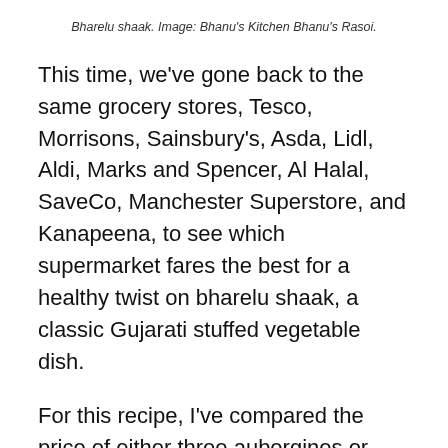Bharelu shaak. Image: Bhanu's Kitchen Bhanu's Rasoi.
This time, we've gone back to the same grocery stores, Tesco, Morrisons, Sainsbury's, Asda, Lidl, Aldi, Marks and Spencer, Al Halal, SaveCo, Manchester Superstore, and Kanapeena, to see which supermarket fares the best for a healthy twist on bharelu shaak, a classic Gujarati stuffed vegetable dish.
For this recipe, I've compared the price of either three aubergines or 1KG, depending on whether the shops sell them individually or by weight, okra, new potatoes, peppers (the recipe calls for Turkish peppers but they have proven very difficult to find), shallots (or normal onions if the store didn't have them), and cauliflower or romanesco cauliflower,